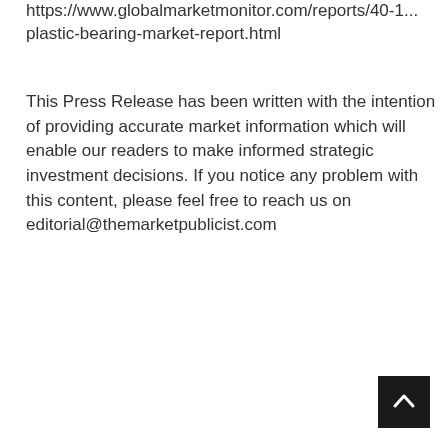https://www.globalmarketmonitor.com/reports/40-1...plastic-bearing-market-report.html
This Press Release has been written with the intention of providing accurate market information which will enable our readers to make informed strategic investment decisions. If you notice any problem with this content, please feel free to reach us on editorial@themarketpublicist.com